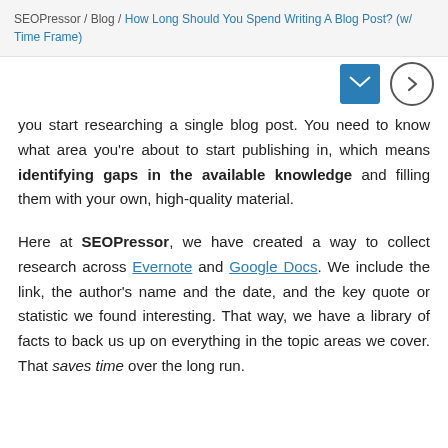SEOPressor / Blog / How Long Should You Spend Writing A Blog Post? (w/ Time Frame)
you start researching a single blog post. You need to know what area you're about to start publishing in, which means identifying gaps in the available knowledge and filling them with your own, high-quality material.
Here at SEOPressor, we have created a way to collect research across Evernote and Google Docs. We include the link, the author's name and the date, and the key quote or statistic we found interesting. That way, we have a library of facts to back us up on everything in the topic areas we cover. That saves time over the long run.